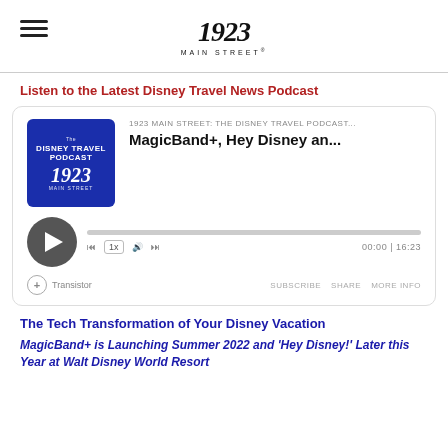1923 Main Street
Listen to the Latest Disney Travel News Podcast
[Figure (screenshot): Podcast player widget showing '1923 MAIN STREET: THE DISNEY TRAVEL PODCAST...' with episode title 'MagicBand+, Hey Disney an...' and controls including play button, progress bar, speed control (1x), volume, skip buttons, time display 00:00|16:23, and Transistor branding with SUBSCRIBE, SHARE, MORE INFO links.]
The Tech Transformation of Your Disney Vacation
MagicBand+ is Launching Summer 2022 and 'Hey Disney!' Later this Year at Walt Disney World Resort